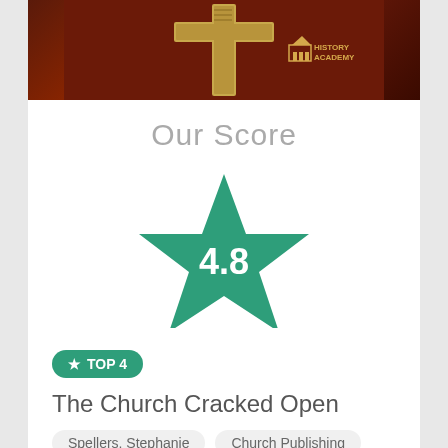[Figure (illustration): Book cover image with dark reddish-brown background showing a cross and History Academy logo]
Our Score
[Figure (infographic): Large teal/green star with score 4.8 in the center]
View on Amazon
Customer Reviews
TOP 4
The Church Cracked Open
Spellers, Stephanie
Church Publishing